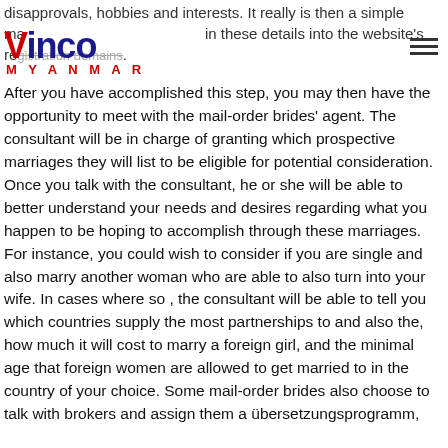disapprovals, hobbies and interests. It really is then a simple matter in these details into the website's registration domains.
[Figure (logo): Vinco Myanmar logo — 'Vinco' in large bold dark blue text with red 'V', 'MYANMAR' in red spaced capitals below]
After you have accomplished this step, you may then have the opportunity to meet with the mail-order brides' agent. The consultant will be in charge of granting which prospective marriages they will list to be eligible for potential consideration. Once you talk with the consultant, he or she will be able to better understand your needs and desires regarding what you happen to be hoping to accomplish through these marriages. For instance, you could wish to consider if you are single and also marry another woman who are able to also turn into your wife. In cases where so , the consultant will be able to tell you which countries supply the most partnerships to and also the, how much it will cost to marry a foreign girl, and the minimal age that foreign women are allowed to get married to in the country of your choice. Some mail-order brides also choose to talk with brokers and assign them a übersetzungsprogramm,